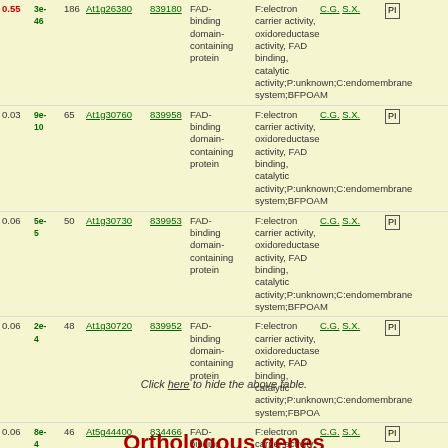| Score | E-value | Hits | Gene | AGIS | Description | GO annotation | Links | PH |
| --- | --- | --- | --- | --- | --- | --- | --- | --- |
| 0.55 | 3e-46 | 186 | At1g26380 | 839180 | FAD-binding domain-containing protein | F:electron carrier activity, oxidoreductase activity, FAD binding, catalytic activity;P:unknown;C:endomembrane system;BFPOAM | C.G. S.X. | PI |
| 0.03 | 9e-10 | 65 | At1g30760 | 839958 | FAD-binding domain-containing protein | F:electron carrier activity, oxidoreductase activity, FAD binding, catalytic activity;P:unknown;C:endomembrane system;BFPOAM | C.G. S.X. | PI |
| 0.06 | 5e-5 | 50 | At1g30730 | 839953 | FAD-binding domain-containing protein | F:electron carrier activity, oxidoreductase activity, FAD binding, catalytic activity;P:unknown;C:endomembrane system;BFPOAM | C.G. S.X. | PI |
| 0.06 | 2e-4 | 48 | At1g30720 | 839952 | FAD-binding domain-containing protein | F:electron carrier activity, oxidoreductase activity, FAD binding, catalytic activity;P:unknown;C:endomembrane system;FBPOA | C.G. S.X. | PI |
| 0.06 | 8e-4 | 46 | At5g44400 | 834466 | FAD-binding domain-containing protein | F:electron carrier activity, oxidoreductase activity, FAD binding, catalytic activity;P:unknown;C:cell wall;BFOPAM | C.G. S.X. | PI |
Click here to hide the above table.
Orthologous genes